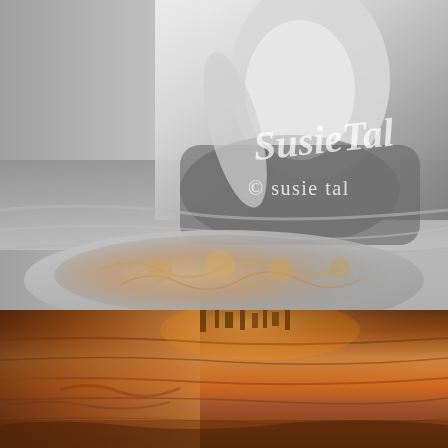[Figure (photo): Black and white photograph of a person (woman) sitting cross-legged on a beach, wearing jeans and a white top, with colorized flowers or accessories in the foreground near the water. A watermark text reads 'Susie Tal' (partially visible) in script and serif fonts overlaid on the right side of the image.]
[Figure (photo): Color photograph of what appears to be a canyon or rocky landscape with warm orange-red tones, possibly Horseshoe Bend or similar geological formation, with building silhouettes visible at the top.]